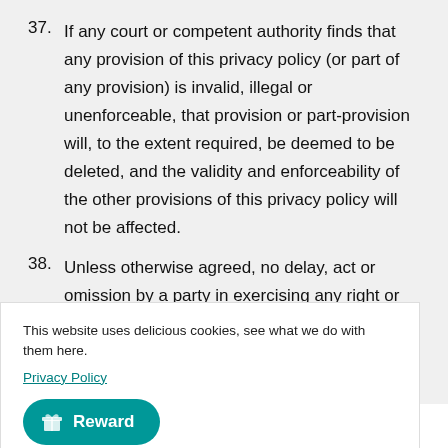37. If any court or competent authority finds that any provision of this privacy policy (or part of any provision) is invalid, illegal or unenforceable, that provision or part-provision will, to the extent required, be deemed to be deleted, and the validity and enforceability of the other provisions of this privacy policy will not be affected.
38. Unless otherwise agreed, no delay, act or omission by a party in exercising any right or remedy will be deemed a waiver of that, or any other, right or remedy.
39. This Agreement will be governed by and interpreted according to the law of England and Wales. All disputes
This website uses delicious cookies, see what we do with them here.
Privacy Policy
[Figure (other): Reward button - teal pill-shaped button with gift icon and 'Reward' label]
Changes to this privacy policy